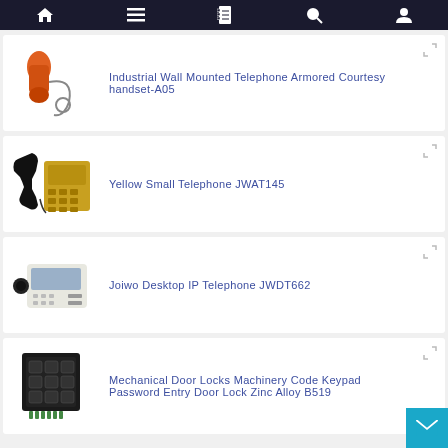Navigation bar with home, menu, contact book, search, user icons
Industrial Wall Mounted Telephone Armored Courtesy handset-A05
Yellow Small Telephone JWAT145
Joiwo Desktop IP Telephone JWDT662
Mechanical Door Locks Machinery Code Keypad Password Entry Door Lock Zinc Alloy B519